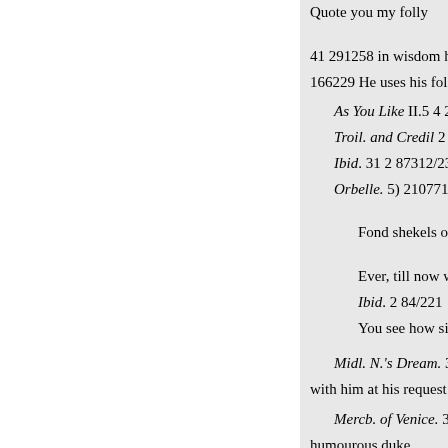Quote you my folly
41 291258 in wisdom hatch'd,
166229 He uses his folly like a s
As You Like II.5 4 249112 His
Troil. and Credil 2 859135 Wh
Ibid. 31 2 87312/23 She turn'd
Orbelle. 5) 21077136 What! q
Fond shekels of the tested g
Ever, till now when men we
Ibid. 2 84/221
You see how simple and ho
Midl. N.'s Dream. 3) 2 1881 2
with him at his request
Mercb. of Venice. 31 31 212 3
humourous duke